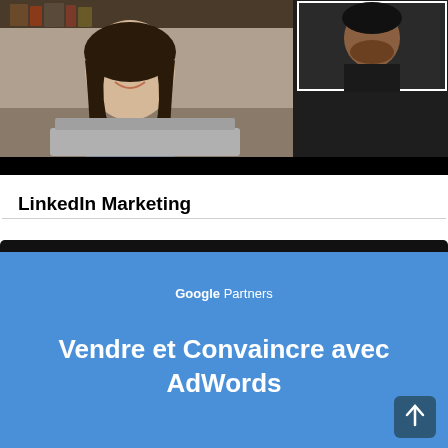[Figure (screenshot): Video call screenshot showing a woman smiling at a laptop in a home office setting, with a smaller thumbnail of a man in a dark shirt in the upper right corner. Black bar at bottom of the video frame.]
LinkedIn Marketing
[Figure (screenshot): Google Partners branded slide in blue background with white text reading 'Vendre et Convaincre avec AdWords']